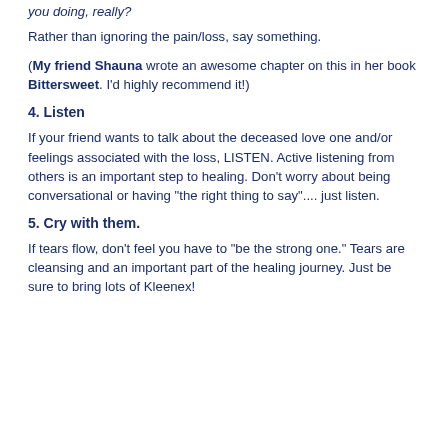you doing, really?
Rather than ignoring the pain/loss, say something.
(My friend Shauna wrote an awesome chapter on this in her book Bittersweet. I'd highly recommend it!)
4. Listen
If your friend wants to talk about the deceased love one and/or feelings associated with the loss, LISTEN. Active listening from others is an important step to healing. Don't worry about being conversational or having "the right thing to say".... just listen.
5. Cry with them.
If tears flow, don't feel you have to "be the strong one." Tears are cleansing and an important part of the healing journey. Just be sure to bring lots of Kleenex!